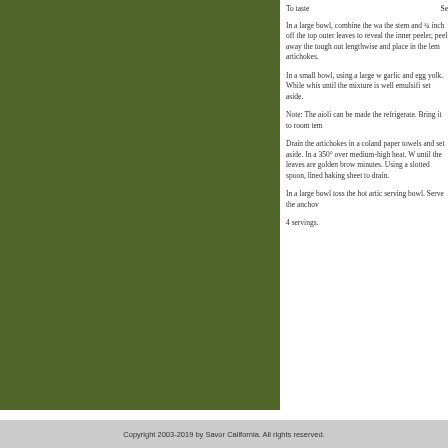[Figure (photo): Green olive/dark green panel on the left side of the page]
To taste	Se
In a large bowl, combine the wa the stem and ¼ inch off the top outer leaves to reveal the inner peeler, peel away the tough out lengthwise and place in the lem artichokes.
In a small bowl, using a large w garlic and egg yolk. While whis until the mixture is well emulsifi set aside.
Note: The aioli can be made the refrigerate. Bring it to room tem
Drain the artichokes in a coland paper towels and set aside. In a 350° over medium-high heat. W until the leaves are golden brow minutes. Using a slotted spoon, lined baking sheet to drain.
In a large bowl toss the hot artic serving bowl. Serve the anchov
4 servings.
Copyright 2003-2019 by Savor California. All rights reserved.